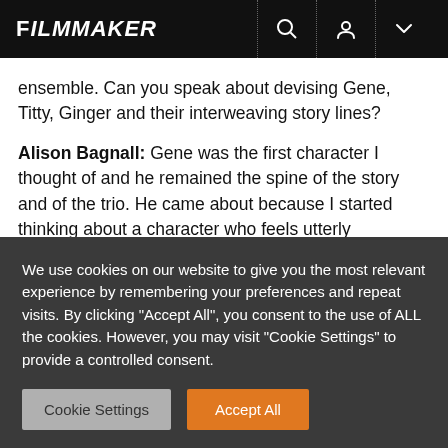FILMMAKER
ensemble. Can you speak about devising Gene, Titty, Ginger and their interweaving story lines?
Alison Bagnall: Gene was the first character I thought of and he remained the spine of the story and of the trio. He came about because I started thinking about a character who feels utterly unlovable. I was thinking about a man who feels so unlovable that he believes he could never
We use cookies on our website to give you the most relevant experience by remembering your preferences and repeat visits. By clicking "Accept All", you consent to the use of ALL the cookies. However, you may visit "Cookie Settings" to provide a controlled consent.